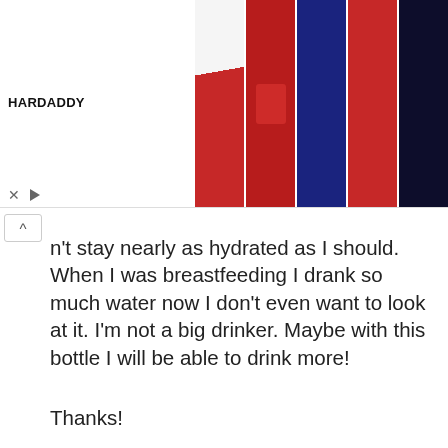[Figure (other): HARDADDY advertisement banner showing Christmas-themed clothing items including hoodies and shirts]
n't stay nearly as hydrated as I should. When I was breastfeeding I drank so much water now I don't even want to look at it. I'm not a big drinker. Maybe with this bottle I will be able to drink more!

Thanks!
Reply
[Figure (other): Generic user avatar placeholder showing silhouette of person]
Michael Capp says:
January 6, 2009 at 6:11 am
I didn't stay nearly as hydrated as I should...